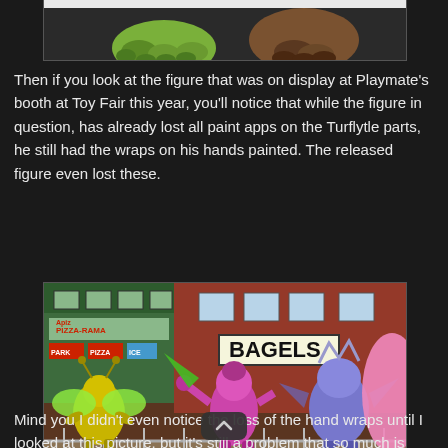[Figure (photo): Partial image at top showing turtle feet/legs, green and brown colored, cropped at top of page.]
Then if you look at the figure that was on display at Playmate's booth at Toy Fair this year, you'll notice that while the figure in question, has already lost all paint apps on the Turflytle parts, he still had the wraps on his hands painted. The released figure even lost these.
[Figure (photo): Photo of action figures on display at a toy fair booth. Scene shows a street backdrop with a 'BAGELS' sign and 'Pizza-Rama' store. Three or four alien/monster figures are posed on a platform/bridge display. A yellow insect-like figure, a purple/magenta figure in the center, and a blue-grey figure on the right. A pink figure is partially visible at far right edge.]
Mind you I didn't even notice the loss of the hand wraps until I looked at this picture, but it's still a problem that so much is getting cut back from what we're originally